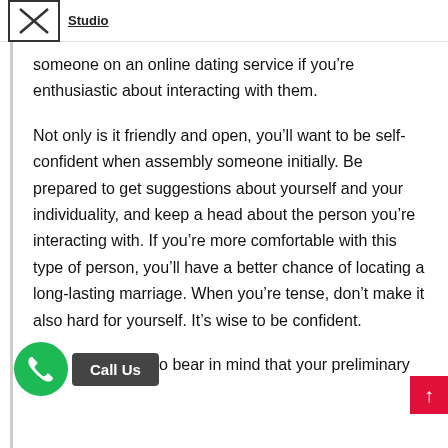Studio
someone on an online dating service if you’re enthusiastic about interacting with them.
Not only is it friendly and open, you’ll want to be self-confident when assembly someone initially. Be prepared to get suggestions about yourself and your individuality, and keep a head about the person you’re interacting with. If you’re more comfortable with this type of person, you’ll have a better chance of locating a long-lasting marriage. When you’re tense, don’t make it also hard for yourself. It’s wise to be confident.
mportant to bear in mind that your preliminary